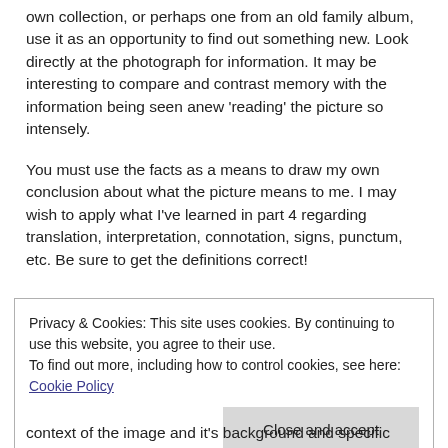own collection, or perhaps one from an old family album, use it as an opportunity to find out something new.  Look directly at the photograph for information.  It may be interesting to compare and contrast memory with the information being seen anew 'reading' the picture so intensely.
You must use the facts as a means to draw my own conclusion about what the picture means to me.  I may wish to apply what I've learned in part 4 regarding translation, interpretation, connotation, signs, punctum, etc.  Be sure to get the definitions correct!
Privacy & Cookies: This site uses cookies. By continuing to use this website, you agree to their use. To find out more, including how to control cookies, see here: Cookie Policy
Close and accept
context of the image and it's background and specific